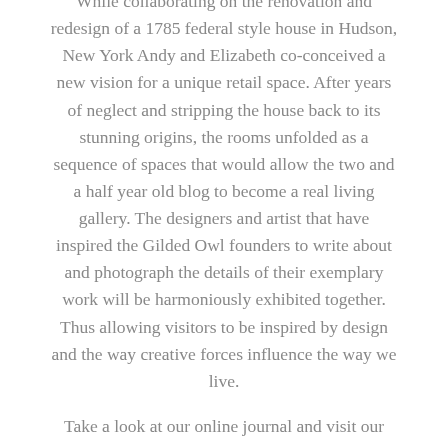While collaborating on the renovation and redesign of a 1785 federal style house in Hudson, New York Andy and Elizabeth co-conceived a new vision for a unique retail space. After years of neglect and stripping the house back to its stunning origins, the rooms unfolded as a sequence of spaces that would allow the two and a half year old blog to become a real living gallery. The designers and artist that have inspired the Gilded Owl founders to write about and photograph the details of their exemplary work will be harmoniously exhibited together. Thus allowing visitors to be inspired by design and the way creative forces influence the way we live.
Take a look at our online journal and visit our